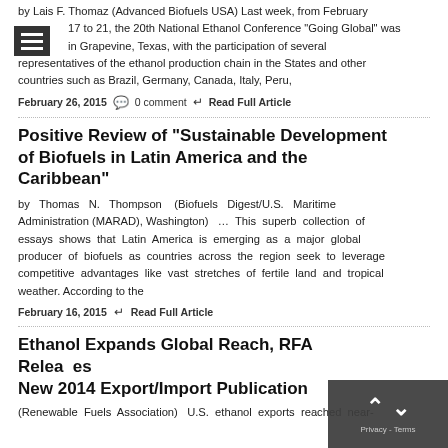by Lais F. Thomaz (Advanced Biofuels USA) Last week, from February 17 to 21, the 20th National Ethanol Conference "Going Global" was in Grapevine, Texas, with the participation of several representatives of the ethanol production chain in the States and other countries such as Brazil, Germany, Canada, Italy, Peru,
February 26, 2015   0 comment   Read Full Article
Positive Review of "Sustainable Development of Biofuels in Latin America and the Caribbean"
by Thomas N. Thompson (Biofuels Digest/U.S. Maritime Administration (MARAD), Washington) … This superb collection of essays shows that Latin America is emerging as a major global producer of biofuels as countries across the region seek to leverage competitive advantages like vast stretches of fertile land and tropical weather. According to the
February 16, 2015   Read Full Article
Ethanol Expands Global Reach, RFA Releases New 2014 Export/Import Publication
(Renewable Fuels Association) U.S. ethanol exports reached near-